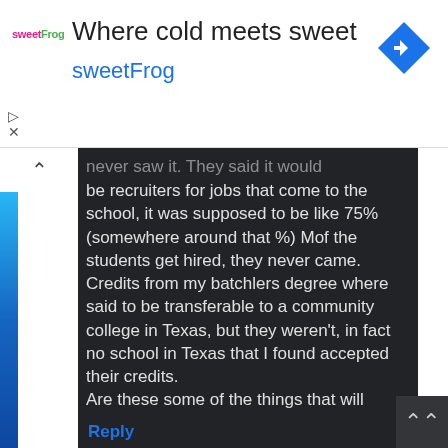[Figure (screenshot): sweetFrog advertisement banner with logo, tagline 'Where cold meets sweet', brand name 'sweetFrog', navigation arrow icon, and control icons]
never saw it. They said it would be recruiters for jobs that come to the school, it was supposed to be like 75% (somewhere around that %) Mof the students get hired, they never came. Credits from my batchlers degree where said to be transferable to a community college in Texas, but they weren't, in fact no school in Texas that I found accepted their credits.
Are these some of the things that will qualify me?
Reply